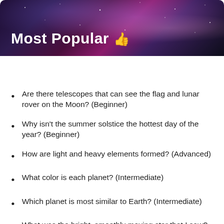[Figure (photo): Dark space/galaxy banner image with purple, pink, and black nebula colors]
Most Popular 👍
| Today | This Week | This Month | All Time |
| --- | --- | --- | --- |
Are there telescopes that can see the flag and lunar rover on the Moon? (Beginner)
Why isn't the summer solstice the hottest day of the year? (Beginner)
How are light and heavy elements formed? (Advanced)
What color is each planet? (Intermediate)
Which planet is most similar to Earth? (Intermediate)
What was the bright, smoothly moving star that I saw? (Beginner)
Why do the planets orbit the sun? (Beginner)
How far is each planet from Earth?